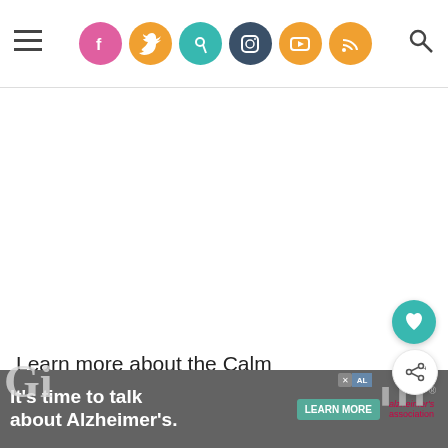Social media navigation bar with hamburger menu, social icons (Facebook, Twitter, Pinterest, Instagram, YouTube, RSS), and search icon
Learn more about the Calm Down Companion:
www.calmdowncompanion.com | Facebook | Instagram | Twitter
[Figure (infographic): What's Next promo: Wear Your Baby In Style with product image thumbnail]
[Figure (infographic): Advertisement banner: It's time to talk about Alzheimer's. LEARN MORE. alzheimer's association logo.]